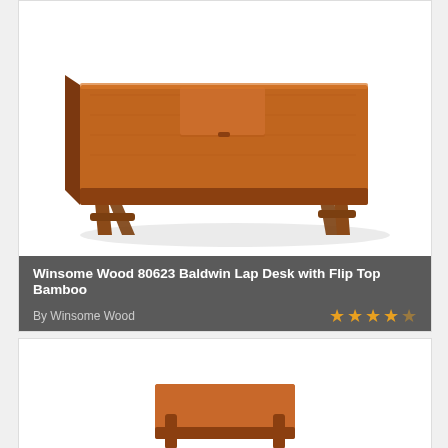[Figure (photo): Wooden lap desk with folding legs and flip-top bamboo surface, shown from a 3/4 angle. The desk has a warm walnut/cherry wood finish with angled folding legs.]
Winsome Wood 80623 Baldwin Lap Desk with Flip Top Bamboo
By Winsome Wood
[Figure (photo): Partially visible second product image showing what appears to be another wooden lap desk from below, cropped at bottom of page.]